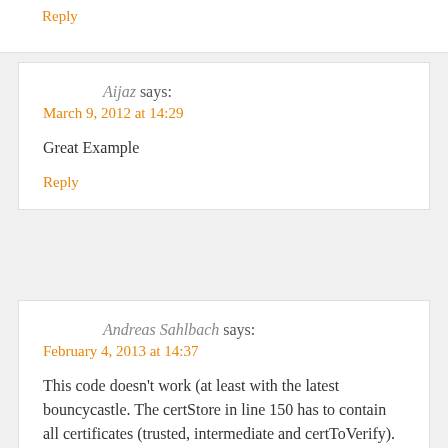Reply
Aijaz says:
March 9, 2012 at 14:29

Great Example
Reply
Andreas Sahlbach says:
February 4, 2013 at 14:37

This code doesn't work (at least with the latest bouncycastle. The certStore in line 150 has to contain all certificates (trusted, intermediate and certToVerify). If this is fixed, the code seems to work. So it's still a